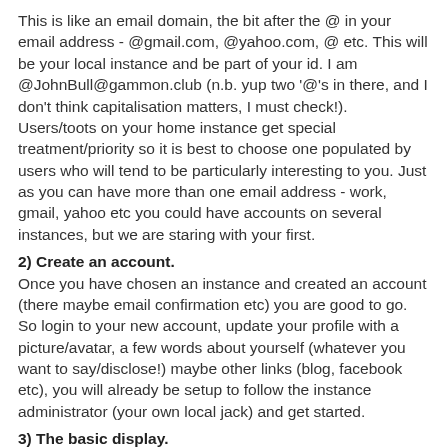This is like an email domain, the bit after the @ in your email address - @gmail.com, @yahoo.com, @ etc. This will be your local instance and be part of your id. I am @JohnBull@gammon.club (n.b. yup two '@'s in there, and I don't think capitalisation matters, I must check!). Users/toots on your home instance get special treatment/priority so it is best to choose one populated by users who will tend to be particularly interesting to you. Just as you can have more than one email address - work, gmail, yahoo etc you could have accounts on several instances, but we are staring with your first.
2) Create an account.
Once you have chosen an instance and created an account (there maybe email confirmation etc) you are good to go. So login to your new account, update your profile with a picture/avatar, a few words about yourself (whatever you want to say/disclose!) maybe other links (blog, facebook etc), you will already be setup to follow the instance administrator (your own local jack) and get started.
3) The basic display.
Your home page will look a bit like this: